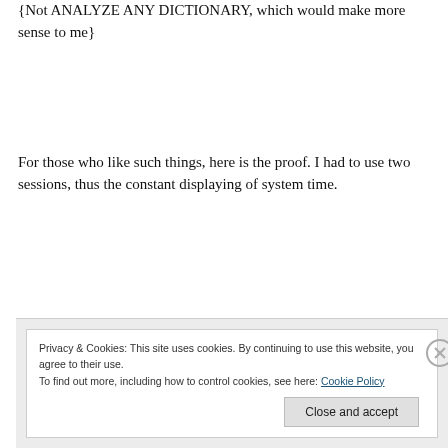{Not ANALYZE ANY DICTIONARY, which would make more sense to me}
For those who like such things, here is the proof. I had to use two sessions, thus the constant displaying of system time.
Privacy & Cookies: This site uses cookies. By continuing to use this website, you agree to their use.
To find out more, including how to control cookies, see here: Cookie Policy
Close and accept